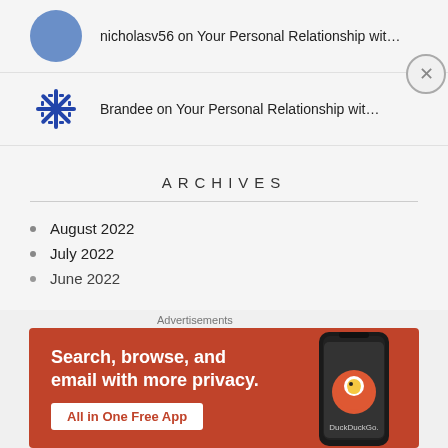nicholasv56 on Your Personal Relationship wit…
Brandee on Your Personal Relationship wit…
ARCHIVES
August 2022
July 2022
June 2022
[Figure (screenshot): DuckDuckGo advertisement banner: 'Search, browse, and email with more privacy. All in One Free App' with phone graphic and DuckDuckGo logo]
Advertisements